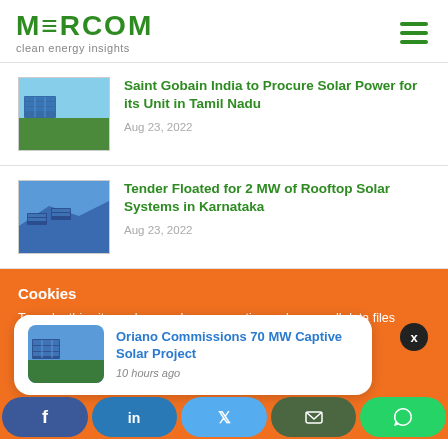MERCOM clean energy insights
Saint Gobain India to Procure Solar Power for its Unit in Tamil Nadu
Aug 23, 2022
Tender Floated for 2 MW of Rooftop Solar Systems in Karnataka
Aug 23, 2022
Cookies
To make this site work properly, we sometimes place small data files called cookies on your device. Most big websites do this too.
[Figure (screenshot): Popup notification card: Oriano Commissions 70 MW Captive Solar Project, 10 hours ago]
Social share bar: Facebook, LinkedIn, Twitter, Email, WhatsApp